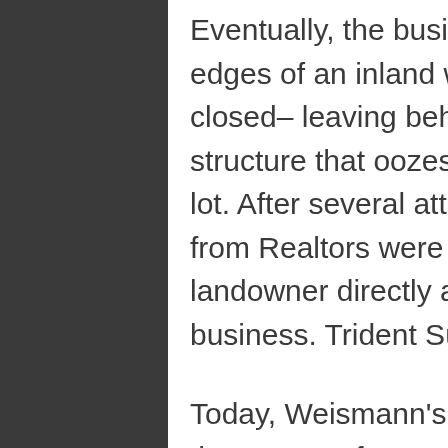Eventually, the business, which snuggles up to the edges of an inland waterway and state park, closed– leaving behind a beautiful decades-old structure that oozes character on a spacious, rural lot. After several attempts at getting information from Realtors were ignored, Brian approached the landowner directly and shared his concept for the business. Trident Surf was born.
Today, Weismann's's vision is coalescing faster than a cup of UV-activated resin in the middle of July. Kids visit after school to hang with their friends and utilize several well-constructed skate ramps outside. Ocean breezes blow through open doors and visitors can sip on ice cold Jarritos, just like you'd savor in Mexico. And while you may not find Billabong or